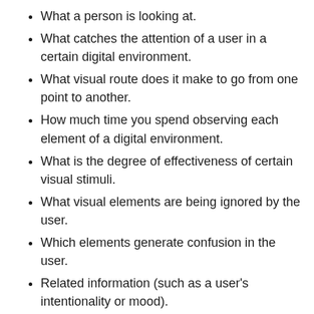What a person is looking at.
What catches the attention of a user in a certain digital environment.
What visual route does it make to go from one point to another.
How much time you spend observing each element of a digital environment.
What is the degree of effectiveness of certain visual stimuli.
What visual elements are being ignored by the user.
Which elements generate confusion in the user.
Related information (such as a user's intentionality or mood).
Once all this data has been obtained, through monitoring, it is necessary to process it to offer